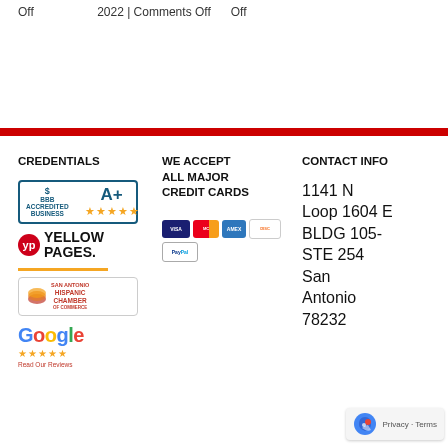Off  2022 | Comments Off  Off
CREDENTIALS
[Figure (logo): BBB Accredited Business A+ badge with yellow stars, Yellow Pages logo with orange underline, San Antonio Hispanic Chamber of Commerce badge, Google logo with yellow stars and Read Our Reviews link]
WE ACCEPT ALL MAJOR CREDIT CARDS
[Figure (logo): Credit card logos: Visa, Mastercard, American Express, Discover, PayPal]
CONTACT INFO
1141 N Loop 1604 E BLDG 105- STE 254 San Antonio 78232